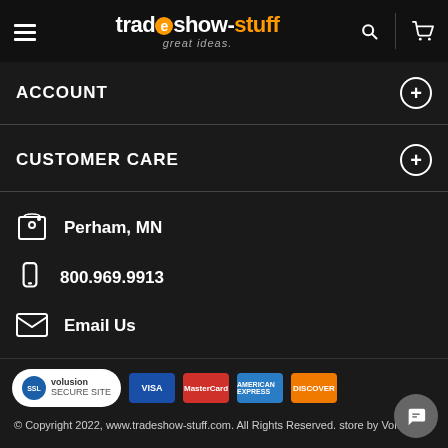tradeshow-stuff great ideas.
ACCOUNT
CUSTOMER CARE
Perham, MN
800.969.9913
Email Us
[Figure (logo): SSL Volusion Secure Site badge and payment card logos: Visa, Mastercard, American Express, Discover]
© Copyright 2022, www.tradeshow-stuff.com.  All Rights Reserved. store by Volusion.